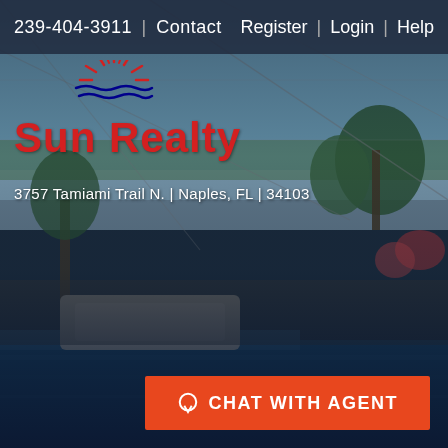239-404-3911 | Contact     Register | Login | Help
[Figure (photo): Background photo of a screened-in pool and spa with a lake and palm trees visible through the screen enclosure]
[Figure (logo): Sun Realty logo with red sun rays icon above the text 'Sun Realty' in red]
3757 Tamiami Trail N. | Naples, FL | 34103
CHAT WITH AGENT